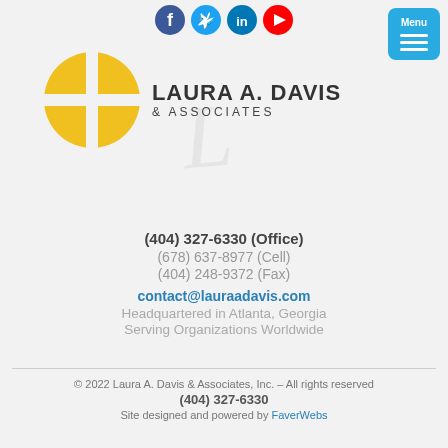[Figure (illustration): Social media icons row: Facebook (blue), Twitter (blue), LinkedIn (blue), YouTube (red)]
[Figure (logo): Laura A. Davis & Associates logo with yellow quadrant circle icon and cursive L watermark]
(404) 327-6330 (Office)
(678) 637-8977 (Cell)
(404) 248-9372 (Fax)
contact@lauraadavis.com
Headquartered in Atlanta, Georgia
Serving Organizations Worldwide
© 2022 Laura A. Davis & Associates, Inc. – All rights reserved
(404) 327-6330
Site designed and powered by FaverWebs